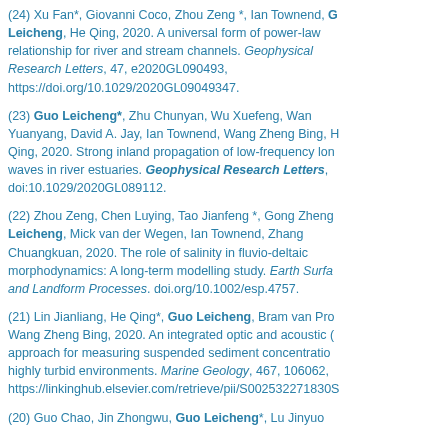(24) Xu Fan*, Giovanni Coco, Zhou Zeng *, Ian Townend, Guo Leicheng, He Qing, 2020. A universal form of power-law relationship for river and stream channels. Geophysical Research Letters, 47, e2020GL090493, https://doi.org/10.1029/2020GL09049347.
(23) Guo Leicheng*, Zhu Chunyan, Wu Xuefeng, Wan Yuanyang, David A. Jay, Ian Townend, Wang Zheng Bing, H Qing, 2020. Strong inland propagation of low-frequency lon waves in river estuaries. Geophysical Research Letters, doi:10.1029/2020GL089112.
(22) Zhou Zeng, Chen Luying, Tao Jianfeng *, Gong Zheng Leicheng, Mick van der Wegen, Ian Townend, Zhang Chuangkuan, 2020. The role of salinity in fluvio-deltaic morphodynamics: A long-term modelling study. Earth Surface and Landform Processes. doi.org/10.1002/esp.4757.
(21) Lin Jianliang, He Qing*, Guo Leicheng, Bram van Pro Wang Zheng Bing, 2020. An integrated optic and acoustic approach for measuring suspended sediment concentration highly turbid environments. Marine Geology, 467, 106062, https://linkinghub.elsevier.com/retrieve/pii/S002532271830S
(20) Guo Chao, Jin Zhongwu, Guo Leicheng*, Lu Jinyuo